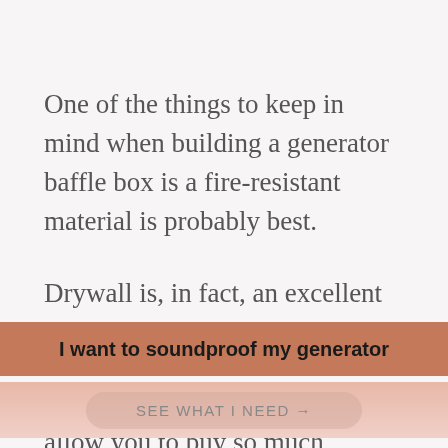One of the things to keep in mind when building a generator baffle box is a fire-resistant material is probably best.
Drywall is, in fact, an excellent option.
If your shoestring budget doesn't allow you to buy so much material for the entire box, you can use drywall for the side with the
I want to soundproof my generator
SEE WHAT I NEED →